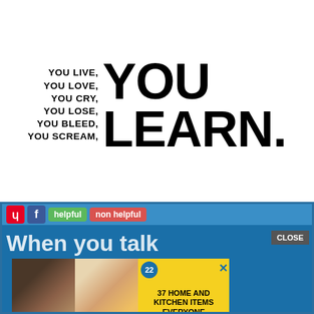[Figure (infographic): Motivational quote typographic design: left side lists 'YOU LIVE, YOU LOVE, YOU CRY, YOU LOSE, YOU BLEED, YOU SCREAM,' in bold uppercase; right side shows large 'YOU LEARN.' in very large bold uppercase text.]
[Figure (screenshot): Screenshot of a webpage with Pinterest and Facebook social buttons, 'helpful' and 'non helpful' buttons, a blue background area showing partial text 'When you talk', a CLOSE button, and an advertisement banner with food images and text '37 HOME AND KITCHEN ITEMS EVERYONE SHOULD OWN' with a '22' badge.]